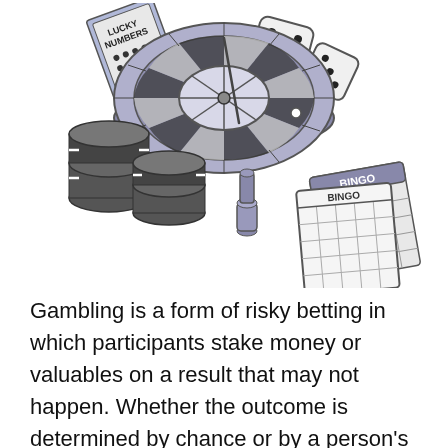[Figure (illustration): Illustration of gambling-related items: a Lucky Numbers booklet, two dice, a roulette wheel, stacks of casino chips, a bingo marker, and two bingo cards.]
Gambling is a form of risky betting in which participants stake money or valuables on a result that may not happen. Whether the outcome is determined by chance or by a person's own miscalculation, the process always involves some